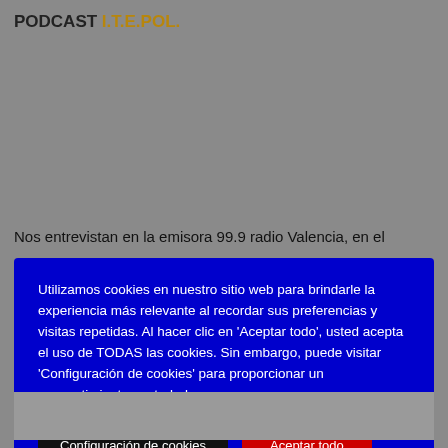PODCAST I.T.E.POL.
Nos entrevistan en la emisora 99.9 radio Valencia, en el
Utilizamos cookies en nuestro sitio web para brindarle la experiencia más relevante al recordar sus preferencias y visitas repetidas. Al hacer clic en 'Aceptar todo', usted acepta el uso de TODAS las cookies. Sin embargo, puede visitar 'Configuración de cookies' para proporcionar un consentimiento controlado.
Configuración de cookies
Aceptar todo